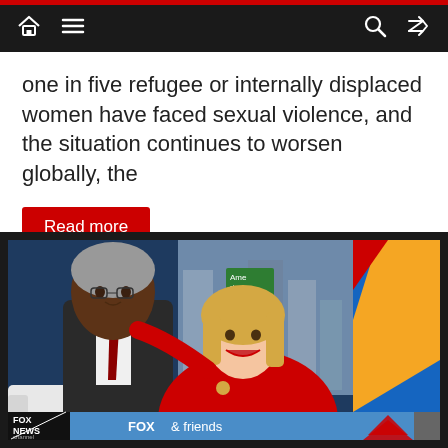Navigation bar with home, menu, search, and shuffle icons
one in five refugee or internally displaced women have faced sexual violence, and the situation continues to worsen globally, the
Read more
[Figure (screenshot): Fox News screenshot showing two people on a TV set. A man in a dark suit with a red tie and a woman in a red jacket are seated together on a white couch. The background shows a blue studio wall with a New York city scene. The Fox News Channel logo and 'FOX & friends' lower-third bar are visible.]